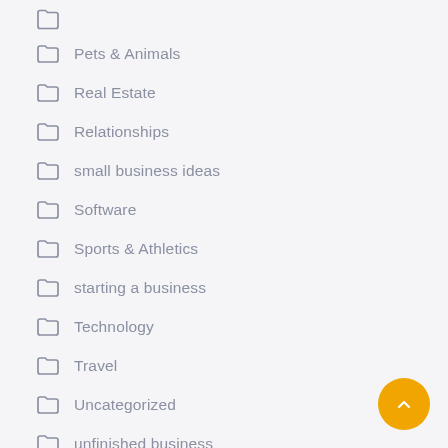Pets & Animals
Real Estate
Relationships
small business ideas
Software
Sports & Athletics
starting a business
Technology
Travel
Uncategorized
unfinished business
Web Resources